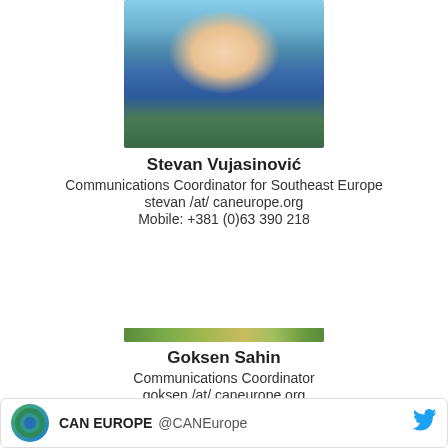[Figure (photo): Headshot photo of Stevan Vujasinović, a man in a blue shirt outdoors]
Stevan Vujasinović
Communications Coordinator for Southeast Europe
stevan /at/ caneurope.org
Mobile: +381 (0)63 390 218
[Figure (photo): Small partial photo strip, outdoor greenery scene]
Goksen Sahin
Communications Coordinator
goksen /at/ caneurope.org
Work: +32 2893 0827
Mobile: +32 468 453 920
CAN EUROPE @CANEurope